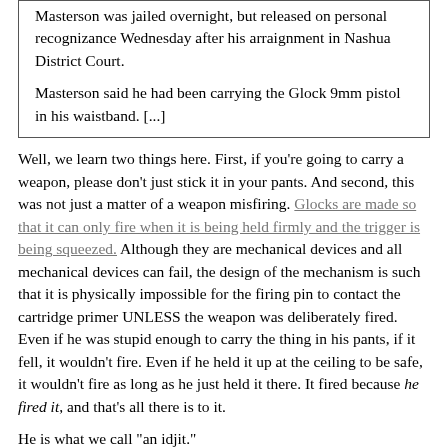Masterson was jailed overnight, but released on personal recognizance Wednesday after his arraignment in Nashua District Court.

Masterson said he had been carrying the Glock 9mm pistol in his waistband. [...]
Well, we learn two things here. First, if you're going to carry a weapon, please don't just stick it in your pants. And second, this was not just a matter of a weapon misfiring. Glocks are made so that it can only fire when it is being held firmly and the trigger is being squeezed. Although they are mechanical devices and all mechanical devices can fail, the design of the mechanism is such that it is physically impossible for the firing pin to contact the cartridge primer UNLESS the weapon was deliberately fired. Even if he was stupid enough to carry the thing in his pants, if it fell, it wouldn't fire. Even if he held it up at the ceiling to be safe, it wouldn't fire as long as he just held it there. It fired because he fired it, and that's all there is to it.
He is what we call "an idjit."